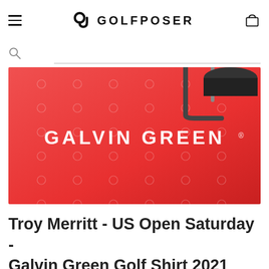GOLFPOSER
[Figure (photo): Red Galvin Green branded banner image with repeated small circular logos pattern and golf equipment visible in upper right. White text 'GALVIN GREEN' displayed centrally.]
Troy Merritt - US Open Saturday - Galvin Green Golf Shirt 2021